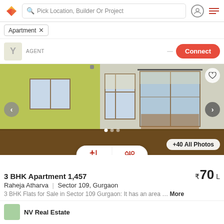Pick Location, Builder Or Project
Apartment ×
AGENT | Connect
[Figure (photo): Interior photo of an apartment room with yellow-green walls, large windows with blinds and sliding glass door leading to a balcony, wooden floor. Navigation arrows on left and right. Heart icon top-right. Dots indicator and +40 All Photos button at bottom.]
3 BHK Apartment 1,457
₹70 L
Raheja Atharva  |  Sector 109, Gurgaon
3 BHK Flats for Sale in Sector 109 Gurgaon: It has an area … More
NV Real Estate